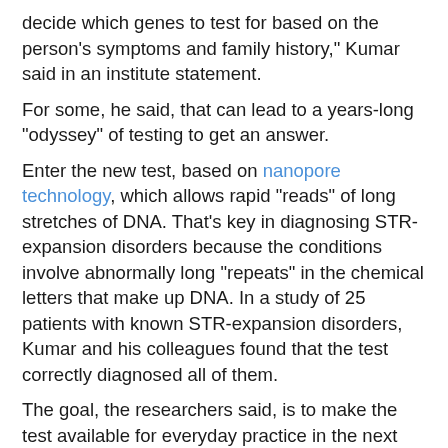decide which genes to test for based on the person's symptoms and family history," Kumar said in an institute statement.
For some, he said, that can lead to a years-long "odyssey" of testing to get an answer.
Enter the new test, based on nanopore technology, which allows rapid "reads" of long stretches of DNA. That's key in diagnosing STR-expansion disorders because the conditions involve abnormally long "repeats" in the chemical letters that make up DNA. In a study of 25 patients with known STR-expansion disorders, Kumar and his colleagues found that the test correctly diagnosed all of them.
The goal, the researchers said, is to make the test available for everyday practice in the next two to five years.
The findings were published online March 4 in the